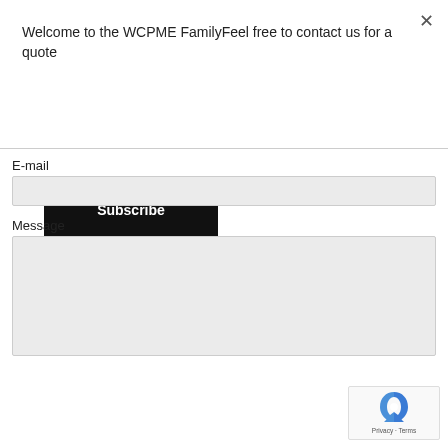Welcome to the WCPME FamilyFeel free to contact us for a quote
Subscribe
E-mail
Message
Submit
[Figure (other): reCAPTCHA widget with Privacy and Terms links]